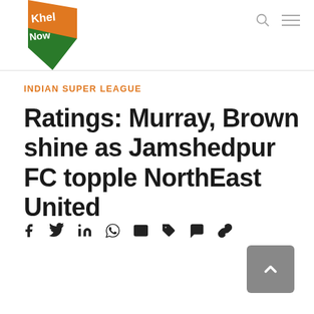Khel Now
INDIAN SUPER LEAGUE
Ratings: Murray, Brown shine as Jamshedpur FC topple NorthEast United